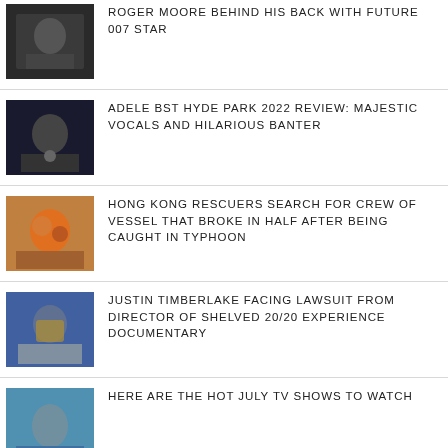ROGER MOORE BEHIND HIS BACK WITH FUTURE 007 STAR
ADELE BST HYDE PARK 2022 REVIEW: MAJESTIC VOCALS AND HILARIOUS BANTER
HONG KONG RESCUERS SEARCH FOR CREW OF VESSEL THAT BROKE IN HALF AFTER BEING CAUGHT IN TYPHOON
JUSTIN TIMBERLAKE FACING LAWSUIT FROM DIRECTOR OF SHELVED 20/20 EXPERIENCE DOCUMENTARY
HERE ARE THE HOT JULY TV SHOWS TO WATCH